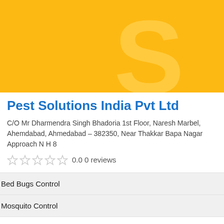[Figure (logo): Yellow/orange banner with a large stylized S letter watermark on orange/golden background]
Pest Solutions India Pvt Ltd
C/O Mr Dharmendra Singh Bhadoria 1st Floor, Naresh Marbel, Ahemdabad, Ahmedabad – 382350, Near Thakkar Bapa Nagar Approach N H 8
0.0 0 reviews
Bed Bugs Control
Mosquito Control